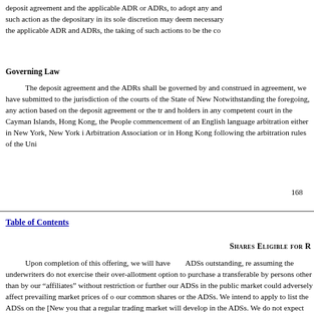deposit agreement and the applicable ADR or ADRs, to adopt any and such action as the depositary in its sole discretion may deem necessary the applicable ADR and ADRs, the taking of such actions to be the co
Governing Law
The deposit agreement and the ADRs shall be governed by and construed in agreement, we have submitted to the jurisdiction of the courts of the State of New Notwithstanding the foregoing, any action based on the deposit agreement or the tr and holders in any competent court in the Cayman Islands, Hong Kong, the People commencement of an English language arbitration either in New York, New York i Arbitration Association or in Hong Kong following the arbitration rules of the Uni
168
Table of Contents
Shares Eligible for R
Upon completion of this offering, we will have ADSs outstanding, re assuming the underwriters do not exercise their over-allotment option to purchase a transferable by persons other than by our “affiliates” without restriction or further our ADSs in the public market could adversely affect prevailing market prices of o our common shares or the ADSs. We intend to apply to list the ADSs on the [New you that a regular trading market will develop in the ADSs. We do not expect that a by the ADSs.